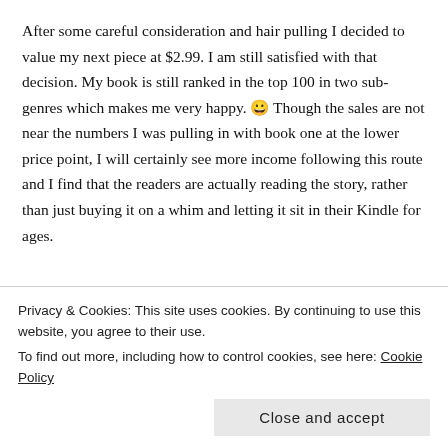After some careful consideration and hair pulling I decided to value my next piece at $2.99. I am still satisfied with that decision. My book is still ranked in the top 100 in two sub-genres which makes me very happy. 😀 Though the sales are not near the numbers I was pulling in with book one at the lower price point, I will certainly see more income following this route and I find that the readers are actually reading the story, rather than just buying it on a whim and letting it sit in their Kindle for ages.
[Figure (illustration): Broken image placeholder followed by red hyperlink text: Twist & Turn by Christa Simpson. Book 2 in The Twisted Trilogy. A sexy romance with a love triangle and a paranormal twist.]
Getting to the point of this post, now that I've efficiently rambled on beyond the point of retaining your attention, I wonder how you as an
Privacy & Cookies: This site uses cookies. By continuing to use this website, you agree to their use.
To find out more, including how to control cookies, see here: Cookie Policy
Close and accept